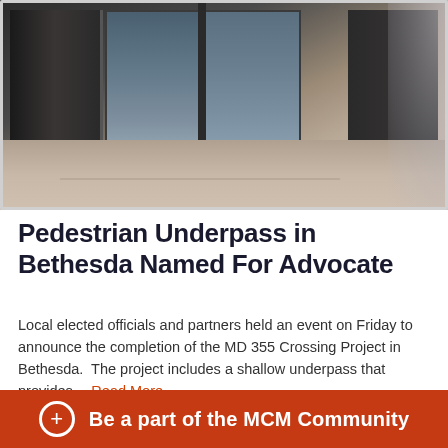[Figure (photo): Photo of a pedestrian underpass entrance with glass doors and concrete floor, dark metal frames visible on sides, natural light from windows]
Pedestrian Underpass in Bethesda Named For Advocate
Local elected officials and partners held an event on Friday to announce the completion of the MD 355 Crossing Project in Bethesda.  The project includes a shallow underpass that provides… Read More
Government | February 25, 2022 | Michael Hernández
Be a part of the MCM Community